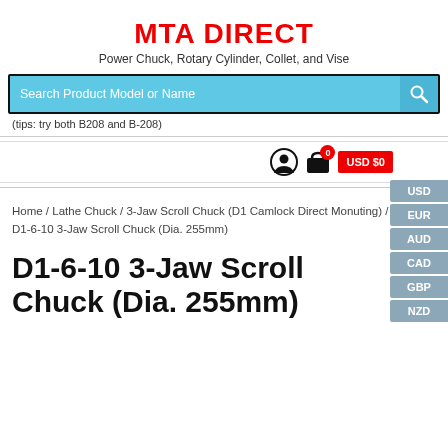MTA DIRECT
Power Chuck, Rotary Cylinder, Collet, and Vise
Search Product Model or Name
(tips: try both B208 and B-208)
USD EUR AUD CAD GBP NZD
0 USD $0
Home / Lathe Chuck / 3-Jaw Scroll Chuck (D1 Camlock Direct Monuting) / D1-6-10 3-Jaw Scroll Chuck (Dia. 255mm)
D1-6-10 3-Jaw Scroll Chuck (Dia. 255mm)